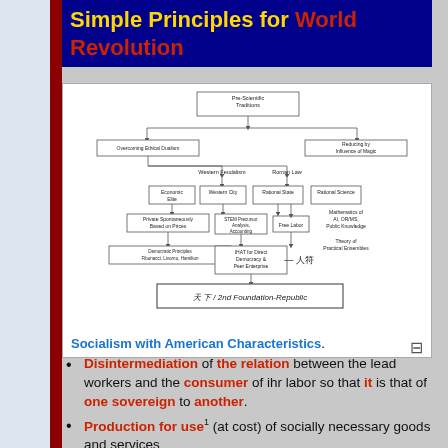Simple Principles for World Revolution
[Figure (flowchart): Flowchart showing Pre-Scientific Traditions flowing into Overcoming Ethical Dualism and Reducing the Influence of Magic, then into Western Feudalism, Roman Law, Economic Elite, Western City, Rational State, Rational Science, leading through various nodes to Free Labor, STEM Precursor Analysis, Democratic Principles (Fibonacci, Livorno, Hamilton), IHAT for Direct Democracy & Peer Enterprise, Mathematics of AI, OR/MS, Public Knowledge, Theory of Practical Ensembles, and finally to 天下 / 2nd Foundation-Republic]
Socialism with American Characteristics.
Disintermediation of the relation between the lead workers and the consumer of ihr labor so that it is that of one sovereign to another.
Production for use¹ (at cost) of socially necessary goods and services